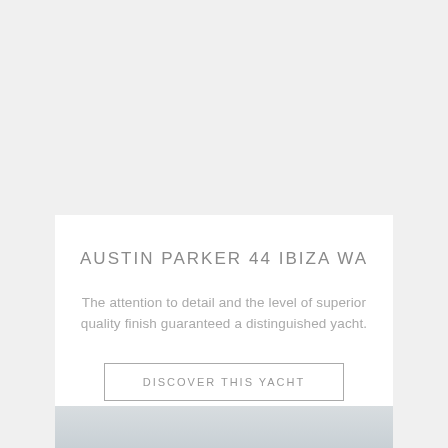AUSTIN PARKER 44 IBIZA WA
The attention to detail and the level of superior quality finish guaranteed a distinguished yacht.
DISCOVER THIS YACHT